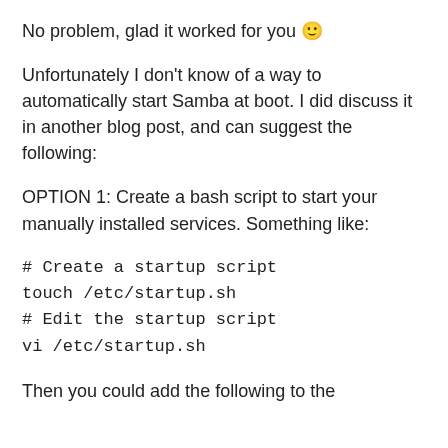No problem, glad it worked for you 🙂
Unfortunately I don't know of a way to automatically start Samba at boot. I did discuss it in another blog post, and can suggest the following:
OPTION 1: Create a bash script to start your manually installed services. Something like:
# Create a startup script
touch /etc/startup.sh
# Edit the startup script
vi /etc/startup.sh
Then you could add the following to the